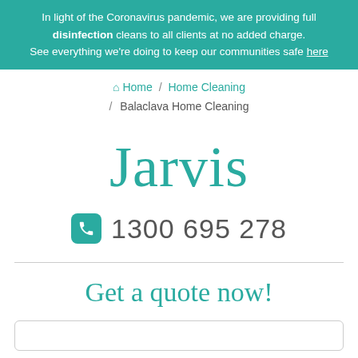In light of the Coronavirus pandemic, we are providing full disinfection cleans to all clients at no added charge. See everything we're doing to keep our communities safe here
Home / Home Cleaning / Balaclava Home Cleaning
Jarvis
1300 695 278
Get a quote now!